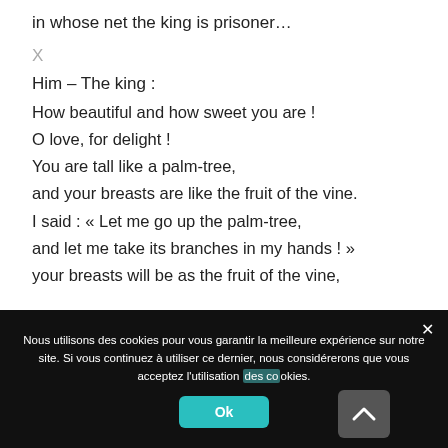in whose net the king is prisoner…
X
Him – The king :
How beautiful and how sweet you are !
O love, for delight !
You are tall like a palm-tree,
and your breasts are like the fruit of the vine.
I said : « Let me go up the palm-tree,
and let me take its branches in my hands ! »
your breasts will be as the fruit of the vine,
Nous utilisons des cookies pour vous garantir la meilleure expérience sur notre site. Si vous continuez à utiliser ce dernier, nous considérerons que vous acceptez l'utilisation des cookies.